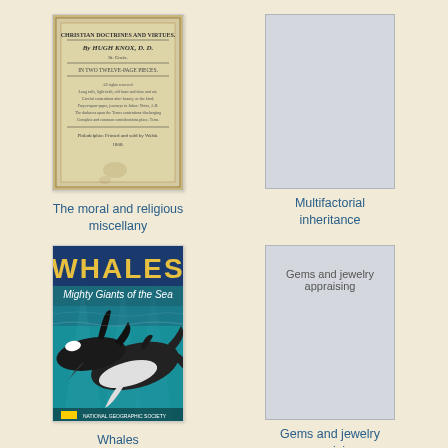[Figure (illustration): Old book cover: The moral and religious miscellany by Hugh Knox D.D.]
The moral and religious miscellany
[Figure (illustration): Placeholder book cover for Multifactorial inheritance]
Multifactorial inheritance
[Figure (illustration): Book cover: Whales – Mighty Giants of the Sea, showing two whales underwater]
Whales
[Figure (illustration): Placeholder book cover with text: Gems and jewelry appraising]
Gems and jewelry appraising